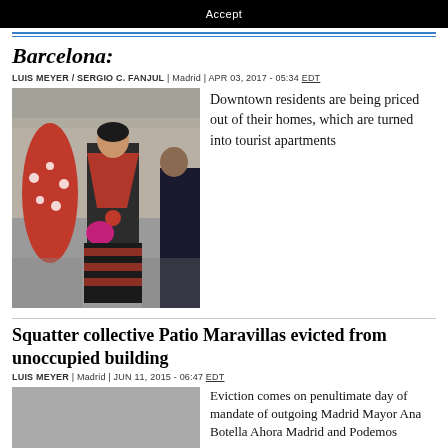Accept
Barcelona:
LUIS MEYER / SERGIO C. FANJUL | Madrid | APR 03, 2017 - 05:34 EDT
[Figure (photo): Woman in flamenco dress on a busy street in Barcelona]
Downtown residents are being priced out of their homes, which are turned into tourist apartments
Squatter collective Patio Maravillas evicted from unoccupied building
LUIS MEYER | Madrid | JUN 11, 2015 - 06:47 EDT
Eviction comes on penultimate day of mandate of outgoing Madrid Mayor Ana Botella Ahora Madrid and Podemos...